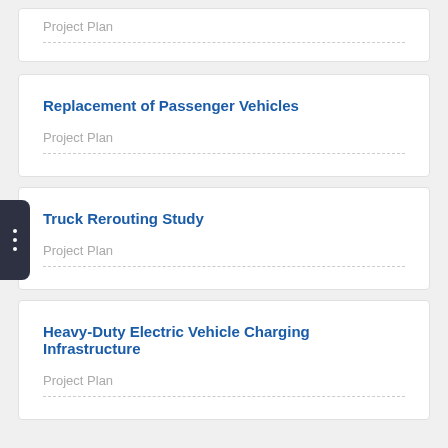Project Plan
Replacement of Passenger Vehicles
Project Plan
Truck Rerouting Study
Project Plan
Heavy-Duty Electric Vehicle Charging Infrastructure
Project Plan